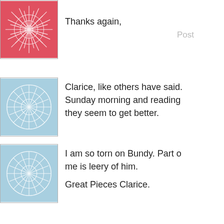[Figure (illustration): Red decorative avatar image with white line pattern]
Thanks again,
Post
[Figure (illustration): Light blue decorative avatar image with white circular line pattern]
Clarice, like others have said. Sunday morning and reading they seem to get better.
[Figure (illustration): Light blue decorative avatar image with white circular line pattern]
I am so torn on Bundy. Part of me is leery of him.
Great Pieces Clarice.
[Figure (illustration): Light blue decorative avatar image with white circular line pattern]
An old man, boinking a half his age doesn't sound ra very educated. How did he m
[Figure (photo): Eagle head photo avatar]
Did anyone know about this s